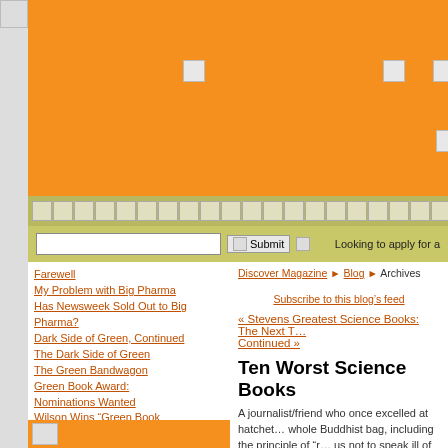Discover Magazine blog header with orange banner and navigation
Farewell
My Problem with Big Pharma
Has Newsweek Sold Out to Big Pharma?
Dark Side of Green, Continued
The Dark Side of Green
The Green Bandwagon
Green Book Award: Nominations Wanted
Wilson Wins "Green Book Award"
The End of Total War?
Does the Desire for Peace Cause War?
[ Full Blog Archives ]
[ Who is John Horgan? ]
[ What is Horganism? ]
Discover Magazine ► Blog ► Archives
Subscribe to this blog’s feed
« Stevens Greatest Science Books: The Next T... Continued »
Ten Worst Science Books
A journalist/friend who once excelled at hatchet... whole Buddhist bag, including the principle of “r... us not to speak ill of others. Right speech, like t... Eightfold Path, supposedly helps us cultivate th... that are necessary precursors of enlightenment
But I speak ill of other scientific opinion-shapers... need but because of my deep and abiding cond...